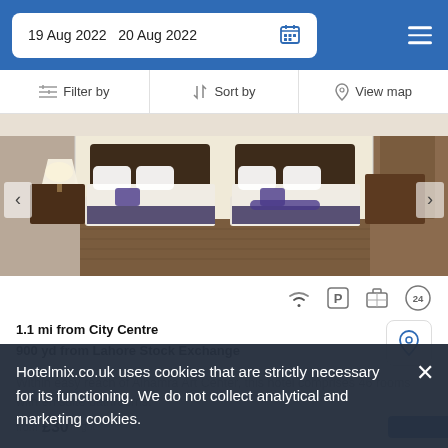19 Aug 2022  20 Aug 2022
Filter by   Sort by   View map
[Figure (photo): Hotel room interior showing two beds with dark decorative runners and pillows, wooden headboards, bedside lamp, hardwood floor]
1.1 mi from City Centre
900 yd from Lahore Stock Exchange
Within easy reach of Alhamra Art Center, this hotel comprises 46 rooms with en suite bathrooms.
Hotelmix.co.uk uses cookies that are strictly necessary for its functioning. We do not collect analytical and marketing cookies.